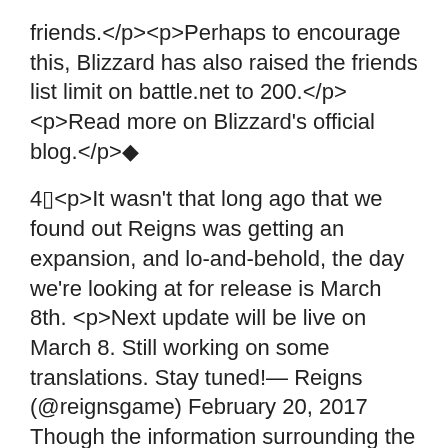friends.</p><p>Perhaps to encourage this, Blizzard has also raised the friends list limit on battle.net to 200.</p><p>Read more on Blizzard's official blog.</p>◆
4▯<p>It wasn't that long ago that we found out Reigns was getting an expansion, and lo-and-behold, the day we're looking at for release is March 8th. <p>Next update will be live on March 8. Still working on some translations. Stay tuned!— Reigns (@reignsgame) February 20, 2017 Though the information surrounding the update is being kept under lock and key, we're sure it's going to breathe new life into the game, and change things up in a great way.</p><p>All we've got to go on so far is Reigns' Tweet: "Next update will be live on March 8.